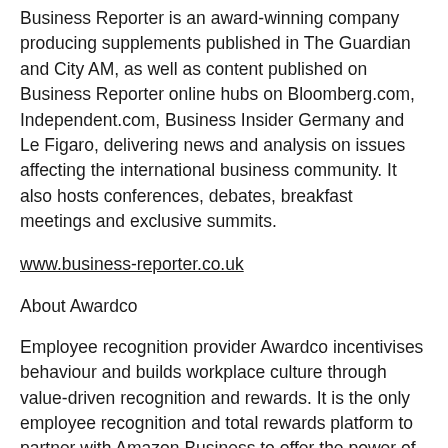Business Reporter is an award-winning company producing supplements published in The Guardian and City AM, as well as content published on Business Reporter online hubs on Bloomberg.com, Independent.com, Business Insider Germany and Le Figaro, delivering news and analysis on issues affecting the international business community. It also hosts conferences, debates, breakfast meetings and exclusive summits.
www.business-reporter.co.uk
About Awardco
Employee recognition provider Awardco incentivises behaviour and builds workplace culture through value-driven recognition and rewards. It is the only employee recognition and total rewards platform to partner with Amazon Business to offer the power of Amazon for any size organization's